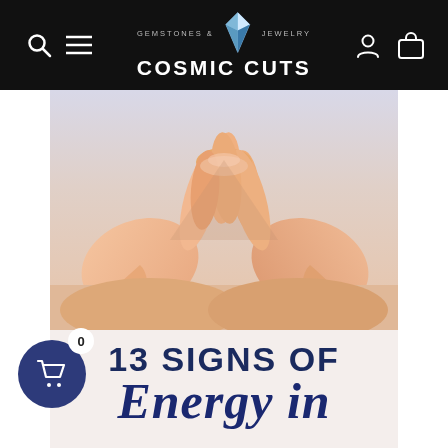Cosmic Cuts — Gemstones & Jewelry
[Figure (photo): Close-up of two hands with fingertips touching forming a triangle shape, soft focus background]
13 SIGNS OF Energy in...